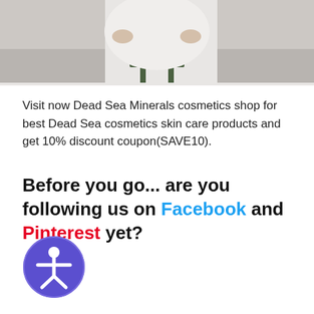[Figure (photo): Cropped photo of a person in white clothing sitting on a stool, outdoors near a beach or sea background.]
Visit now Dead Sea Minerals cosmetics shop for best Dead Sea cosmetics skin care products and get 10% discount coupon(SAVE10).
Before you go... are you following us on Facebook and Pinterest yet?
[Figure (illustration): Accessibility icon button — purple circle with a white person/accessibility symbol in the center.]